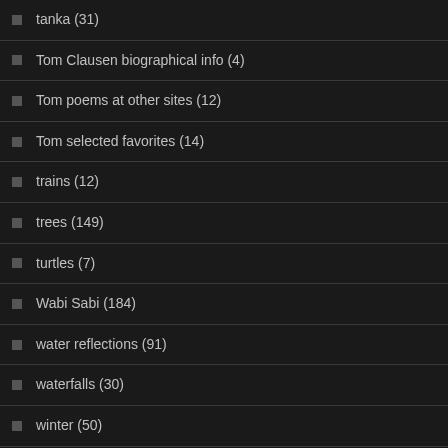tanka (31)
Tom Clausen biographical info (4)
Tom poems at other sites (12)
Tom selected favorites (14)
trains (12)
trees (149)
turtles (7)
Wabi Sabi (184)
water reflections (91)
waterfalls (30)
winter (50)
Woodnotes (1)
BLOGROLL
American Tanka
Blogging Along Tobacco Road